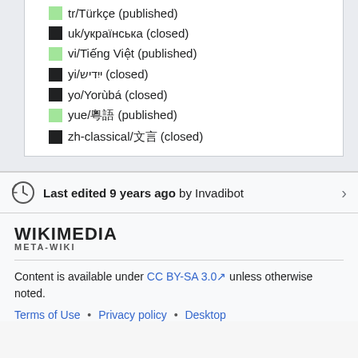tr/Türkçe (published)
uk/українська (closed)
vi/Tiếng Việt (published)
yi/ייִדיש (closed)
yo/Yorùbá (closed)
yue/粵語 (published)
zh-classical/文言 (closed)
Last edited 9 years ago by Invadibot
[Figure (logo): Wikimedia Meta-Wiki logo with text WIKIMEDIA and META-WIKI]
Content is available under CC BY-SA 3.0 unless otherwise noted.
Terms of Use • Privacy policy • Desktop